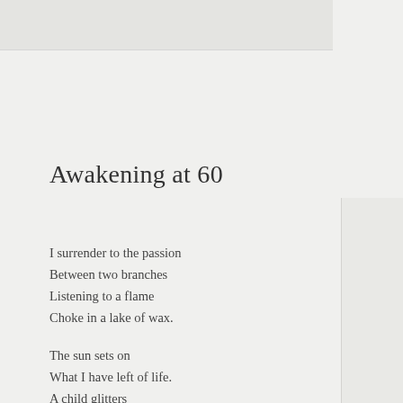Awakening at 60
I surrender to the passion
Between two branches
Listening to a flame
Choke in a lake of wax.
The sun sets on
What I have left of life.
A child glitters
From midnight windows
Behind my smile